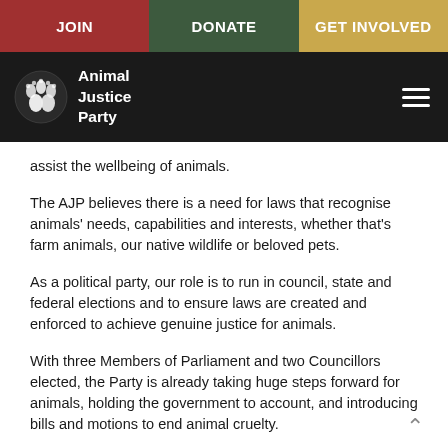JOIN | DONATE | GET INVOLVED
[Figure (logo): Animal Justice Party logo: white animal silhouettes on dark circle with text 'Animal Justice Party' in white on black bar]
assist the wellbeing of animals.
The AJP believes there is a need for laws that recognise animals' needs, capabilities and interests, whether that's farm animals, our native wildlife or beloved pets.
As a political party, our role is to run in council, state and federal elections and to ensure laws are created and enforced to achieve genuine justice for animals.
With three Members of Parliament and two Councillors elected, the Party is already taking huge steps forward for animals, holding the government to account, and introducing bills and motions to end animal cruelty.